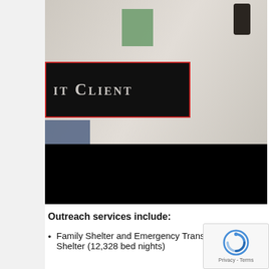[Figure (photo): Photo of a person wearing a white garment/coat, with a green pocket visible. A black badge with red border displays text 'IT CLIENT' in silver/grey serif lettering. The lower portion of the image is blacked out.]
Outreach services include:
Family Shelter and Emergency Transitional Shelter (12,328 bed nights)